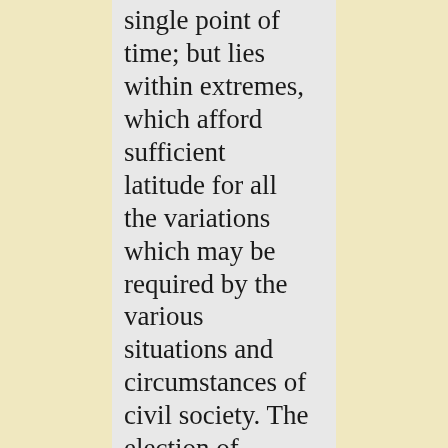single point of time; but lies within extremes, which afford sufficient latitude for all the variations which may be required by the various situations and circumstances of civil society. The election of magistrates might be, if it were found expedient, as in some instances it actually has been, daily, weekly, or monthly, as well as annual; and if circumstances may require a deviation from the rule on one side,